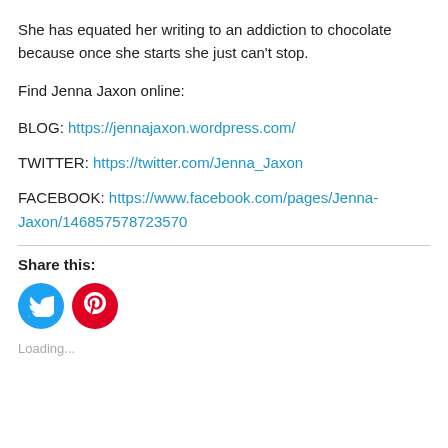She has equated her writing to an addiction to chocolate because once she starts she just can't stop.
Find Jenna Jaxon online:
BLOG: https://jennajaxon.wordpress.com/
TWITTER: https://twitter.com/Jenna_Jaxon
FACEBOOK: https://www.facebook.com/pages/Jenna-Jaxon/146857578723570
Share this:
[Figure (illustration): Twitter and Pinterest social share icon buttons (circular). Twitter button is blue, Pinterest button is red.]
Loading...